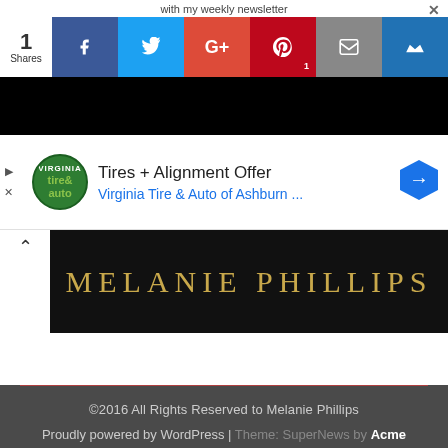with my weekly newsletter
[Figure (infographic): Social share bar with 1 Share count and icons for Facebook, Twitter, Google+, Pinterest (badge: 1), Email, and a crown icon]
[Figure (other): Dark/black banner with partial book cover image visible]
[Figure (infographic): Advertisement: Tires + Alignment Offer from Virginia Tire & Auto of Ashburn, with tire&auto logo and blue diamond arrow icon. Play/close ad controls on left side.]
[Figure (other): Black banner with gold text reading MELANIE PHILLIPS and a white up-arrow panel on left]
©2016 All Rights Reserved to Melanie Phillips
Proudly powered by WordPress | Theme: SuperNews by Acme